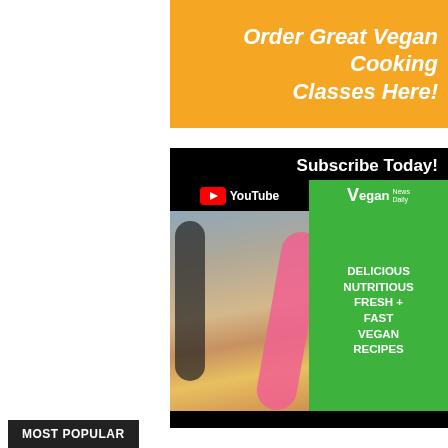[Figure (illustration): Orange banner advertisement for vegan cooking classes with text 'Order Great Vegan Cooking Classes Here!' in italic white bold font]
[Figure (infographic): YouTube subscribe banner with 'Subscribe Today!' text, YouTube and Vegan News Daily logos, photo of two women with fruit/vegetables, and green panel with text 'DELICIOUS NUTRITIOUS FRESH + FAST VEGAN RECIPES']
MOST POPULAR